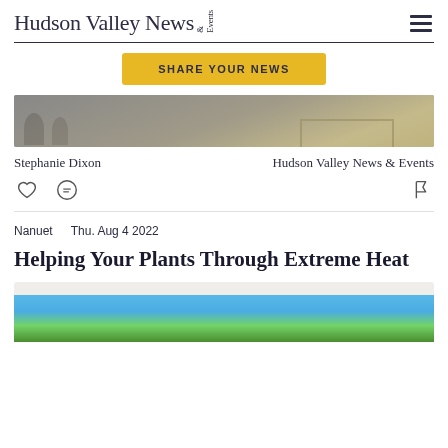Hudson Valley News & Events
SHARE YOUR NEWS
[Figure (photo): Aerial or overhead view of people on pavement with shadows and yellow grid markings]
Stephanie Dixon    Hudson Valley News & Events
Nanuet    Thu. Aug 4 2022
Helping Your Plants Through Extreme Heat
[Figure (photo): Photo of trees and blue sky, bottom portion of article image]